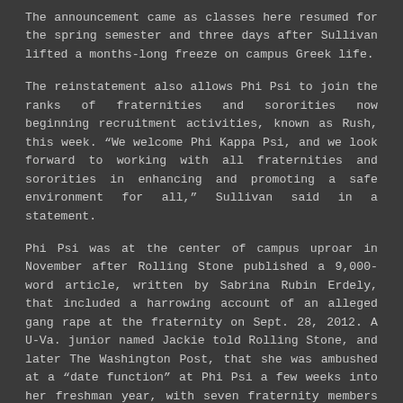The announcement came as classes here resumed for the spring semester and three days after Sullivan lifted a months-long freeze on campus Greek life.
The reinstatement also allows Phi Psi to join the ranks of fraternities and sororities now beginning recruitment activities, known as Rush, this week. “We welcome Phi Kappa Psi, and we look forward to working with all fraternities and sororities in enhancing and promoting a safe environment for all,” Sullivan said in a statement.
Phi Psi was at the center of campus uproar in November after Rolling Stone published a 9,000-word article, written by Sabrina Rubin Erdely, that included a harrowing account of an alleged gang rape at the fraternity on Sept. 28, 2012. A U-Va. junior named Jackie told Rolling Stone, and later The Washington Post, that she was ambushed at a “date function” at Phi Psi a few weeks into her freshman year, with seven fraternity members holding her down and raping her in an upstairs bedroom while two others – including her date – watched and encouraged the attack.